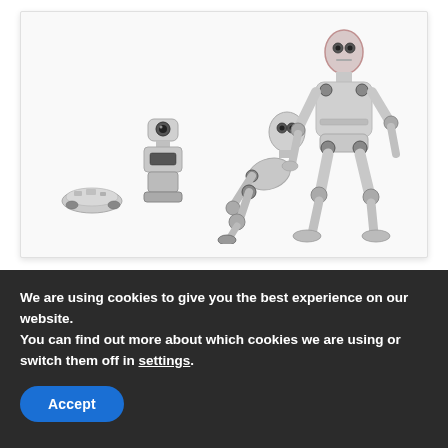[Figure (illustration): Evolution of robots illustration showing four stages: a small flat robot (like a Roomba), a standing cylindrical robot, a humanoid robot on all fours crawling, and a fully upright walking humanoid robot — arranged left to right suggesting the evolution of digitalization/robotics.]
A brief chronicle of digitalization
JUNE 7, 2020
We are using cookies to give you the best experience on our website.
You can find out more about which cookies we are using or switch them off in settings.
Accept